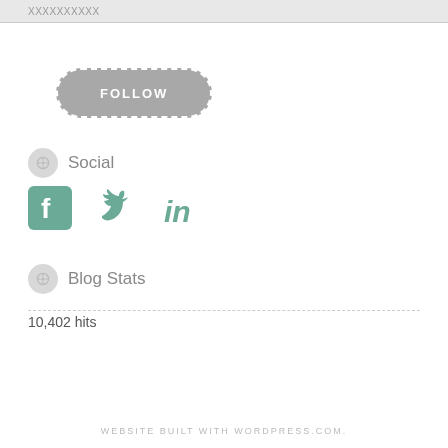XXXXXXXXXX
[Figure (other): Follow button — grey rounded rectangle with dashed white border and FOLLOW text]
Social
[Figure (other): Social media icons: Facebook, Twitter, LinkedIn in teal/green color]
Blog Stats
10,402 hits
WEBSITE BUILT WITH WORDPRESS.COM.